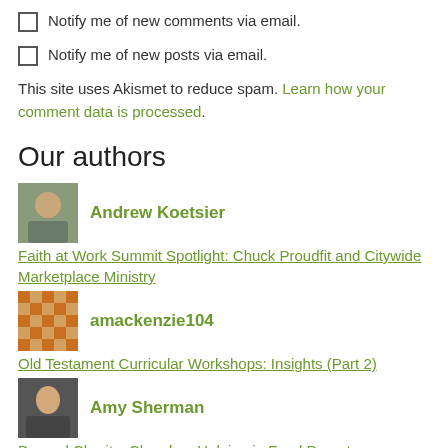Notify me of new comments via email.
Notify me of new posts via email.
This site uses Akismet to reduce spam. Learn how your comment data is processed.
Our authors
Andrew Koetsier
Faith at Work Summit Spotlight: Chuck Proudfit and Citywide Marketplace Ministry
amackenzie104
Old Testament Curricular Workshops: Insights (Part 2)
Amy Sherman
Beyond Charity: Churches Helping in Food Deserts
Benjamin Norquist
Being White in the (White) Faith and Work Movement
billyekee1